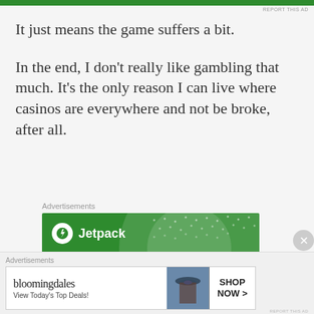REPORT THIS AD
It just means the game suffers a bit.
In the end, I don't really like gambling that much. It's the only reason I can live where casinos are everywhere and not be broke, after all.
Advertisements
[Figure (illustration): Jetpack advertisement banner on green background with circular light overlay and dot pattern. Shows Jetpack logo with lightning bolt icon and text 'Like an undo button for']
Advertisements
[Figure (illustration): Bloomingdale's advertisement showing logo, 'View Today's Top Deals!' text, woman in hat image, and 'SHOP NOW >' button]